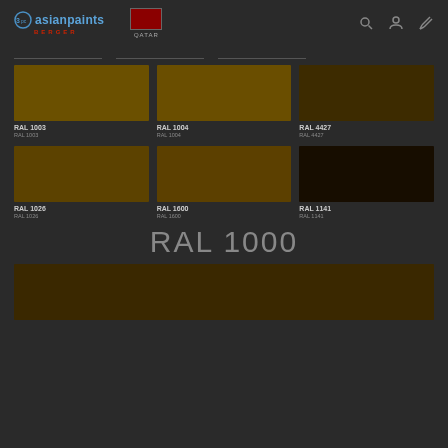Asian Paints Berger - Qatar
[Figure (screenshot): Color swatches catalog showing RAL color codes on dark background]
RAL 1000